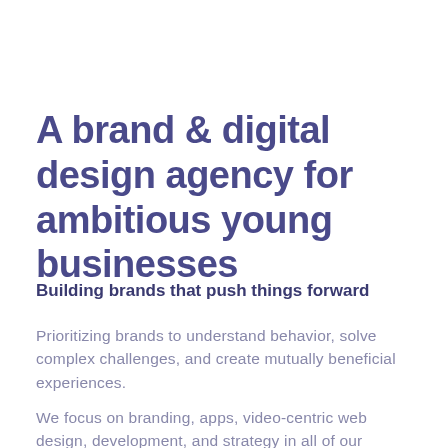A brand & digital design agency for ambitious young businesses
Building brands that push things forward
Prioritizing brands to understand behavior, solve complex challenges, and create mutually beneficial experiences.
We focus on branding, apps, video-centric web design, development, and strategy in all of our